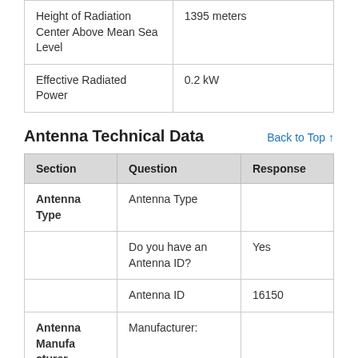| Question | Response |
| --- | --- |
| Height of Radiation Center Above Mean Sea Level | 1395 meters |
| Effective Radiated Power | 0.2 kW |
Antenna Technical Data
| Section | Question | Response |
| --- | --- | --- |
| Antenna Type | Antenna Type |  |
|  | Do you have an Antenna ID? | Yes |
|  | Antenna ID | 16150 |
| Antenna Manufacturer | Manufacturer: |  |